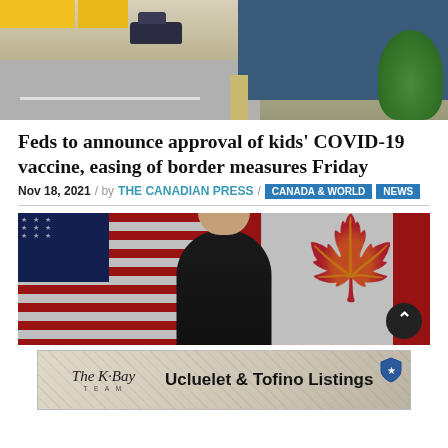[Figure (photo): Street-level photo of a border crossing: a dark car on a road, yellow barriers top-left, a blue building on the right, dry grass and green trees in the background]
Feds to announce approval of kids’ COVID-19 vaccine, easing of border measures Friday
Nov 18, 2021 / by THE CANADIAN PRESS / CANADA & WORLD NEWS
[Figure (photo): Close-up photo of a man (appears to be a political figure) in front of American and Canadian flags]
[Figure (photo): Advertisement banner for The K-Bay Team: Ucluelet & Tofino Listings]